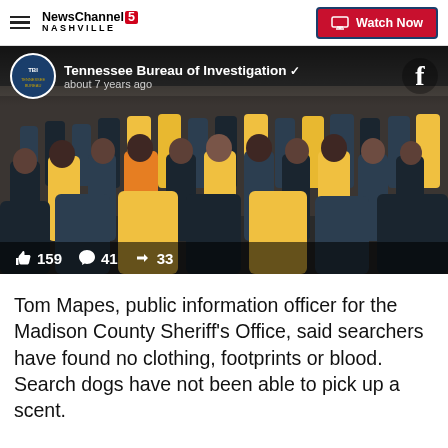NewsChannel 5 NASHVILLE | Watch Now
[Figure (photo): Tennessee Bureau of Investigation Facebook post showing a large crowd of law enforcement officers and search personnel gathered indoors, with likes: 159, comments: 41, shares: 33]
Tom Mapes, public information officer for the Madison County Sheriff's Office, said searchers have found no clothing, footprints or blood. Search dogs have not been able to pick up a scent.